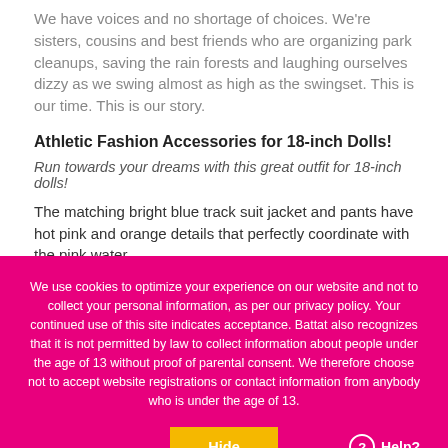We have voices and no shortage of choices. We're sisters, cousins and best friends who are organizing park cleanups, saving the rain forests and laughing ourselves dizzy as we swing almost as high as the swingset. This is our time. This is our story.
Athletic Fashion Accessories for 18-inch Dolls!
Run towards your dreams with this great outfit for 18-inch dolls!
The matching bright blue track suit jacket and pants have hot pink and orange details that perfectly coordinate with the pink water
We use cookies to optimize your experience on our website and not to collect your personal information, as per our privacy policy. Your continued use of this site indicates acceptance. Battat also recognizes that it is not permitted by law to collect information about people under the age of 13 without proof of parental consent. We therefore choose not to accept website registrations or contact information from anybody who is under the age of 13.
Hide
Help?